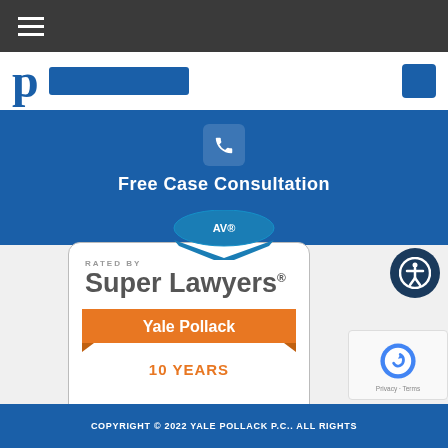Navigation bar with hamburger menu
[Figure (logo): Yale Pollack law firm logo with letter P and search bar]
Free Case Consultation
[Figure (illustration): Rated by Super Lawyers badge - Yale Pollack 10 Years]
[Figure (logo): Accessibility icon button]
[Figure (other): Google reCAPTCHA widget showing Privacy - Terms]
COPYRIGHT © 2022 YALE POLLACK P.C.. ALL RIGHTS